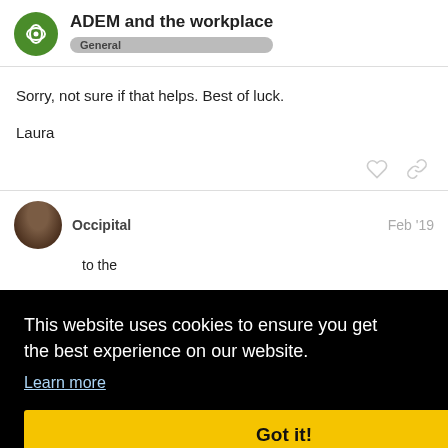ADEM and the workplace — General
Sorry, not sure if that helps. Best of luck.
Laura
Occipital   Feb '19
This website uses cookies to ensure you get the best experience on our website. Learn more
Got it!
to the
in the
job
you get hired then the law says that they